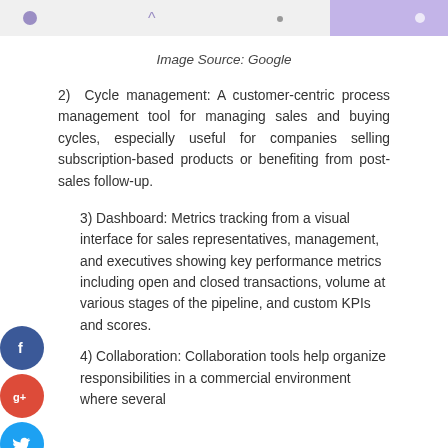[Figure (other): Top decorative strip with purple dot, caret symbol, dot, and purple accent bar]
Image Source: Google
2) Cycle management: A customer-centric process management tool for managing sales and buying cycles, especially useful for companies selling subscription-based products or benefiting from post-sales follow-up.
[Figure (other): Social media sharing icons: Facebook (blue), Google+ (red), Twitter (blue), Plus (dark blue)]
3) Dashboard: Metrics tracking from a visual interface for sales representatives, management, and executives showing key performance metrics including open and closed transactions, volume at various stages of the pipeline, and custom KPIs and scores.
4) Collaboration: Collaboration tools help organize responsibilities in a commercial environment where several